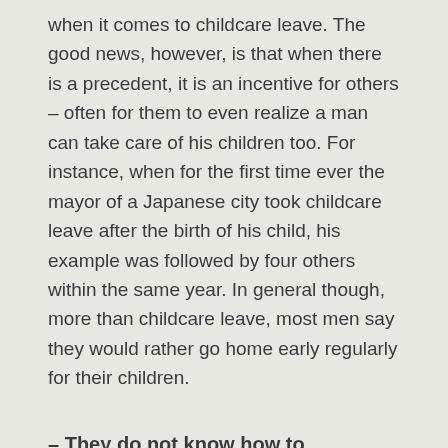when it comes to childcare leave. The good news, however, is that when there is a precedent, it is an incentive for others – often for them to even realize a man can take care of his children too. For instance, when for the first time ever the mayor of a Japanese city took childcare leave after the birth of his child, his example was followed by four others within the same year. In general though, more than childcare leave, most men say they would rather go home early regularly for their children.
– They do not know how to
A lot of men also claim they give up on childcare because they do not know how to do it; the idea that women are naturally gifted for it still prevails in the general opinion –